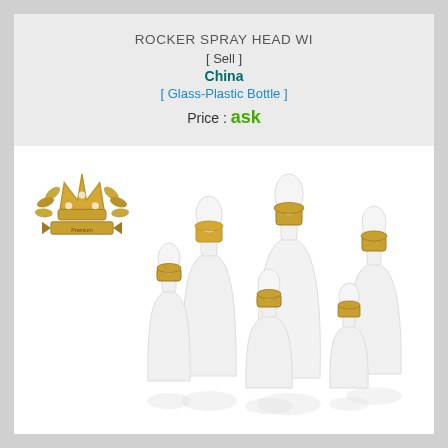ROCKER SPRAY HEAD WI
[ Sell ]
China
[ Glass-Plastic Bottle ]
Price : ask
[Figure (photo): Multiple white frosted glass bottles with gold rocker spray heads/dropper caps, various sizes arranged together. A gold crown/premium badge logo is shown in the upper left corner of the product photo area.]